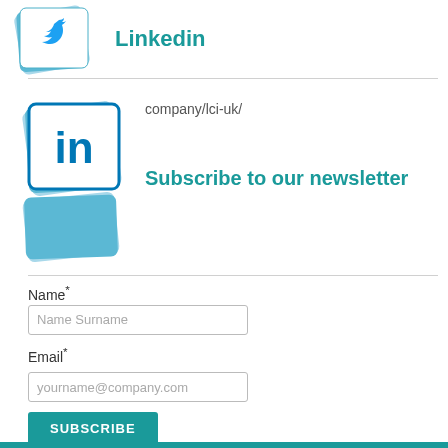[Figure (logo): Twitter bird logo icon on stacked blue card shapes, partially visible at top]
Linkedin
[Figure (logo): LinkedIn 'in' logo icon on stacked blue card shapes]
company/lci-uk/
Subscribe to our newsletter
Name*
Name Surname
Email*
yourname@company.com
SUBSCRIBE